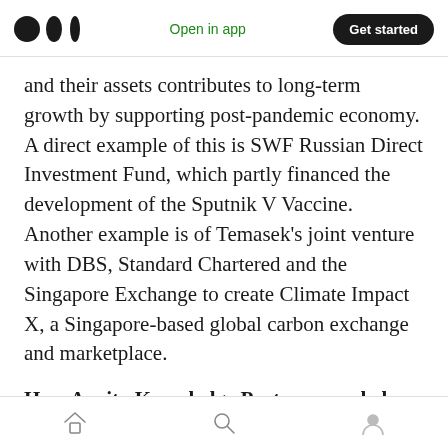Medium app navigation bar — Open in app | Get started
and their assets contributes to long-term growth by supporting post-pandemic economy. A direct example of this is SWF Russian Direct Investment Fund, which partly financed the development of the Sputnik V Vaccine. Another example is of Temasek's joint venture with DBS, Standard Chartered and the Singapore Exchange to create Climate Impact X, a Singapore-based global carbon exchange and marketplace.
How Acuity Knowledge Partners can help
Our Sovereign lending team can provide the anti...
Bottom navigation bar — Home | Search | Profile